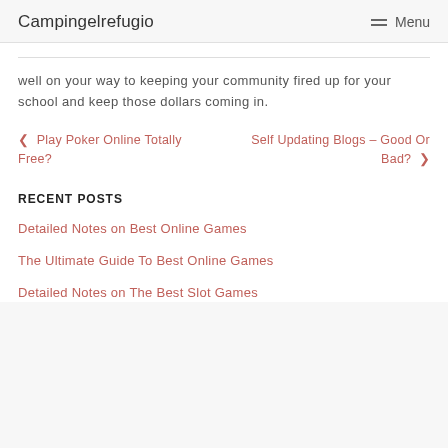Campingelrefugio  Menu
well on your way to keeping your community fired up for your school and keep those dollars coming in.
< Play Poker Online Totally Free?    Self Updating Blogs – Good Or Bad? >
RECENT POSTS
Detailed Notes on Best Online Games
The Ultimate Guide To Best Online Games
Detailed Notes on The Best Slot Games